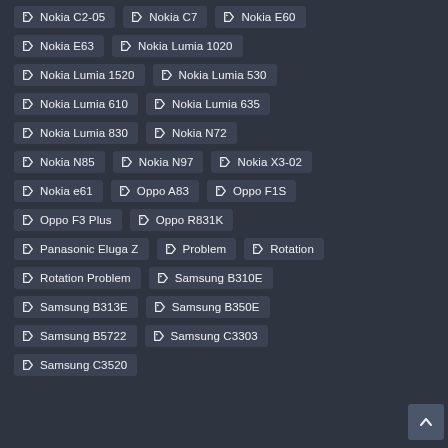Nokia C2-05
Nokia C7
Nokia E60
Nokia E63
Nokia Lumia 1020
Nokia Lumia 1520
Nokia Lumia 530
Nokia Lumia 610
Nokia Lumia 635
Nokia Lumia 830
Nokia N72
Nokia N85
Nokia N97
Nokia X3-02
Nokia e61
Oppo A83
Oppo F1S
Oppo F3 Plus
Oppo R831K
Panasonic Eluga Z
Problem
Rotation
Rotation Problem
Samsung B310E
Samsung B313E
Samsung B350E
Samsung B5722
Samsung C3303
Samsung C3520